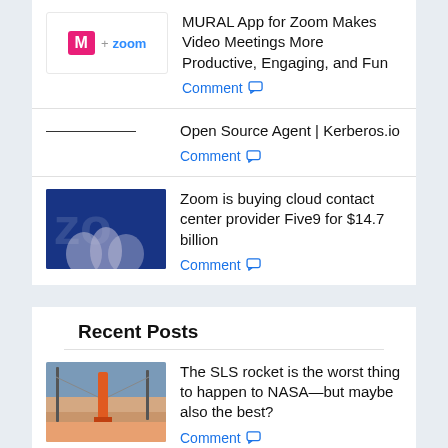[Figure (logo): MURAL + zoom logo]
MURAL App for Zoom Makes Video Meetings More Productive, Engaging, and Fun
Comment
Open Source Agent | Kerberos.io
Comment
[Figure (photo): Zoom event photo with people]
Zoom is buying cloud contact center provider Five9 for $14.7 billion
Comment
Recent Posts
[Figure (photo): SLS rocket launch pad photo]
The SLS rocket is the worst thing to happen to NASA—but maybe also the best?
Comment
[Figure (photo): Weed/plant close-up photo]
Study first to link weed killer Roundup to convulsions in animals